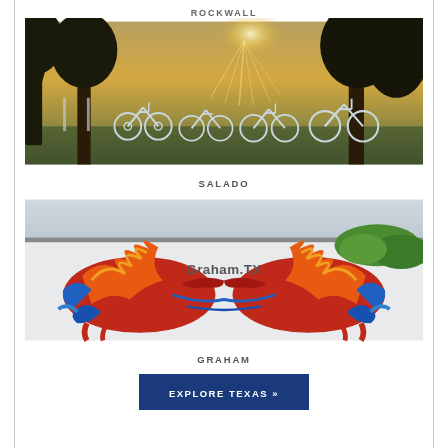ROCKWALL
[Figure (photo): Outdoor scene with white bicycle sculptures/rack installation among trees with sunlight filtering through branches in late afternoon light]
SALADO
[Figure (photo): Colorful mural on a white wall featuring two stylized bull heads facing each other with blue, red, orange and yellow colors, text reads Graham.TX]
GRAHAM
EXPLORE TEXAS »